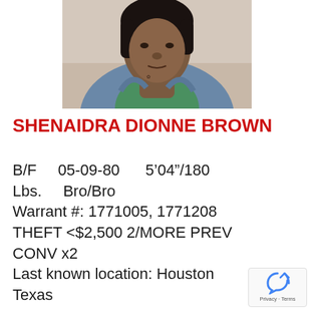[Figure (photo): Mugshot photo of Shenaidra Dionne Brown, showing face and upper body, wearing a green shirt and denim jacket, with a tattoo visible on the neck.]
SHENAIDRA DIONNE BROWN
B/F    05-09-80     5’04”/180 Lbs.    Bro/Bro
Warrant #: 1771005, 1771208
THEFT <$2,500 2/MORE PREV CONV x2
Last known location: Houston Texas